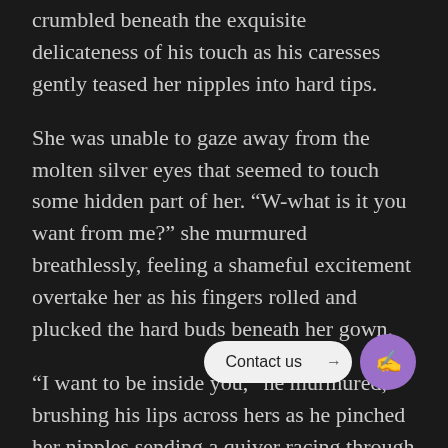crumbled beneath the exquisite delicateness of his touch as his caresses gently teased her nipples into hard tips.
She was unable to gaze away from the molten silver eyes that seemed to touch some hidden part of her. “W-what is it you want from me?” she murmured breathlessly, feeling a shameful excitement overtake her as his fingers rolled and plucked the hard buds beneath her gown.
“I want to be inside you,” he murmured, brushing his lips across hers as he pinched her nipples sending a quiver racing through her. She felt unable to control the wetness growing between her thighs as he played with her tender breasts. “To come into your slick heat, feeling it clenching around me as I move deep inside of you. And I know you want it too, little one.”
She moaned softly as a hand slipped down over her belly